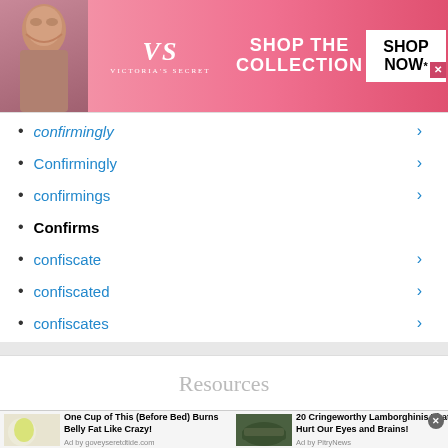[Figure (screenshot): Victoria's Secret advertisement banner with model, VS logo, 'SHOP THE COLLECTION' text and 'SHOP NOW' button]
confirmingly
Confirmingly
confirmings
Confirms
confiscate
confiscated
confiscates
Confiscating
confiscatings
Resources
[Figure (screenshot): Bottom advertisement strip: left ad 'One Cup of This (Before Bed) Burns Belly Fat Like Crazy!' with Ad by goveyseretdtide.com, right ad '20 Cringeworthy Lamborghinis That Hurt Our Eyes and Brains!' with Ad by PitryNews]